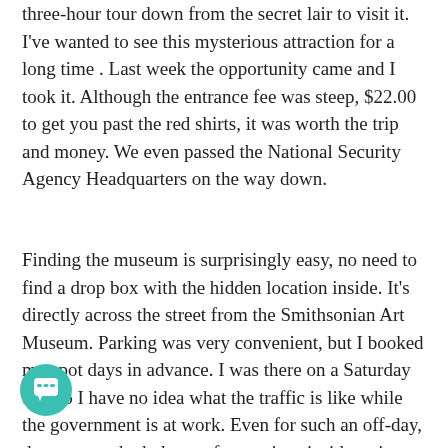three-hour tour down from the secret lair to visit it. I've wanted to see this mysterious attraction for a long time . Last week the opportunity came and I took it. Although the entrance fee was steep, $22.00 to get you past the red shirts, it was worth the trip and money. We even passed the National Security Agency Headquarters on the way down.
Finding the museum is surprisingly easy, no need to find a drop box with the hidden location inside. It's directly across the street from the Smithsonian Art Museum. Parking was very convenient, but I booked my spot days in advance. I was there on a Saturday too, so I have no idea what the traffic is like while the government is at work. Even for such an off-day, the museum had plenty of operatives inside trying to see everything. There is a special interactive tour which you can take, but we opted for the standard walk-it-and-look-at-it tour.